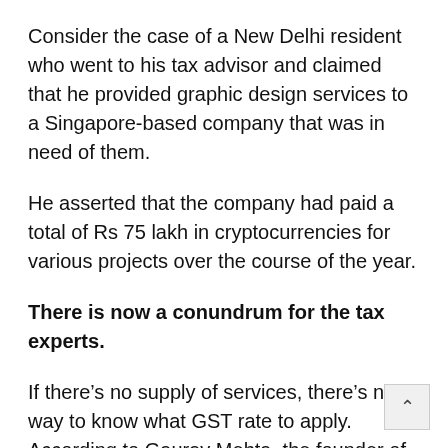Consider the case of a New Delhi resident who went to his tax advisor and claimed that he provided graphic design services to a Singapore-based company that was in need of them.
He asserted that the company had paid a total of Rs 75 lakh in cryptocurrencies for various projects over the course of the year.
There is now a conundrum for the tax experts.
If there’s no supply of services, there’s no way to know what GST rate to apply. According to Gaurav Mehta, the founder of Catax, a cryptocurrency tax consultancy firm, “Secondly, all cryptocurrency transactions between such taxpayers and the